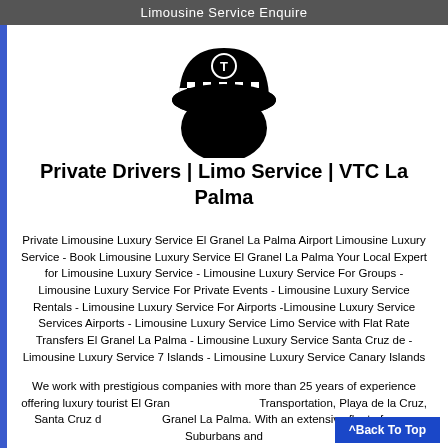Limousine Service Enquire
[Figure (logo): Taxi/chauffeur hat icon with 'T' emblem in circle, checkered band, black silhouette]
Private Drivers | Limo Service | VTC La Palma
Private Limousine Luxury Service El Granel La Palma Airport Limousine Luxury Service - Book Limousine Luxury Service El Granel La Palma Your Local Expert for Limousine Luxury Service - Limousine Luxury Service For Groups - Limousine Luxury Service For Private Events - Limousine Luxury Service Rentals - Limousine Luxury Service For Airports -Limousine Luxury Service Services Airports - Limousine Luxury Service Limo Service with Flat Rate Transfers El Granel La Palma - Limousine Luxury Service Santa Cruz de - Limousine Luxury Service 7 Islands - Limousine Luxury Service Canary Islands
We work with prestigious companies with more than 25 years of experience offering luxury tourist El Gran Transportation, Playa de la Cruz, Santa Cruz d Granel La Palma. With an extensive fleet of vans, Suburbans and